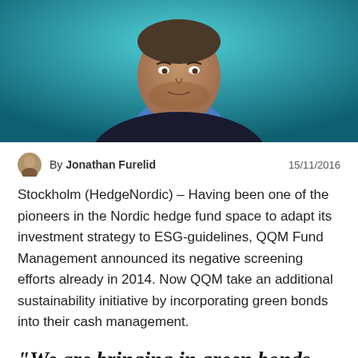[Figure (photo): Portrait photo of a man (Jonathan Furelid) with short dark hair and beard, wearing a blue shirt and dark jacket, against a teal/blue background]
By Jonathan Furelid  15/11/2016
Stockholm (HedgeNordic) – Having been one of the pioneers in the Nordic hedge fund space to adapt its investment strategy to ESG-guidelines, QQM Fund Management announced its negative screening efforts already in 2014. Now QQM take an additional sustainability initiative by incorporating green bonds into their cash management.
"We are bringing in green bonds